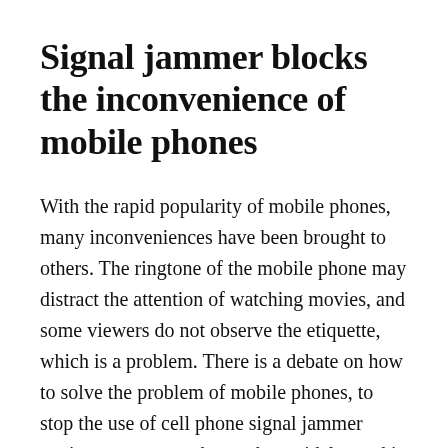Signal jammer blocks the inconvenience of mobile phones
With the rapid popularity of mobile phones, many inconveniences have been brought to others. The ringtone of the mobile phone may distract the attention of watching movies, and some viewers do not observe the etiquette, which is a problem. There is a debate on how to solve the problem of mobile phones, to stop the use of cell phone signal jammer equipment to enter the market, widely used in countries around the world. The device faces various